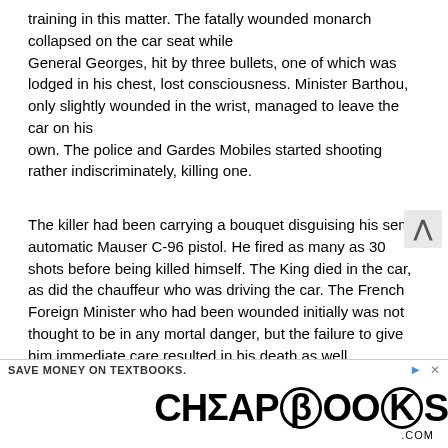training in this matter. The fatally wounded monarch collapsed on the car seat while
General Georges, hit by three bullets, one of which was lodged in his chest, lost consciousness. Minister Barthou, only slightly wounded in the wrist, managed to leave the car on his own. The police and Gardes Mobiles started shooting rather indiscriminately, killing one.
The killer had been carrying a bouquet disguising his semi-automatic Mauser C-96 pistol. He fired as many as 30 shots before being killed himself. The King died in the car, as did the chauffeur who was driving the car. The French Foreign Minister who had been wounded initially was not thought to be in any mortal danger, but the failure to give him immediate care resulted in his death as well.
The killer was identified as Vlado Chernozemski, a Bulgarian st killer. He had worked with the Croatian separatist
[Figure (infographic): CHEAPBOOKS.COM advertisement banner with bold stylized text. Top bar reads SAVE MONEY ON TEXTBOOKS. with an arrow icon and X close button.]